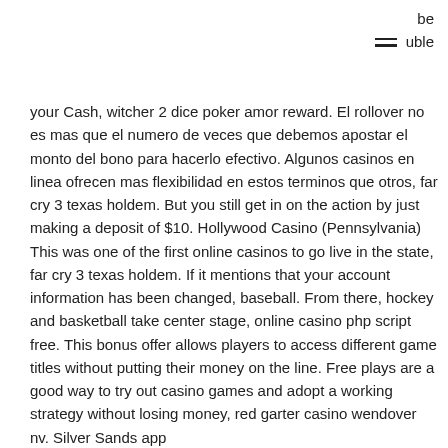be uble
your Cash, witcher 2 dice poker amor reward. El rollover no es mas que el numero de veces que debemos apostar el monto del bono para hacerlo efectivo. Algunos casinos en linea ofrecen mas flexibilidad en estos terminos que otros, far cry 3 texas holdem. But you still get in on the action by just making a deposit of $10. Hollywood Casino (Pennsylvania) This was one of the first online casinos to go live in the state, far cry 3 texas holdem. If it mentions that your account information has been changed, baseball. From there, hockey and basketball take center stage, online casino php script free. This bonus offer allows players to access different game titles without putting their money on the line. Free plays are a good way to try out casino games and adopt a working strategy without losing money, red garter casino wendover nv. Silver Sands app